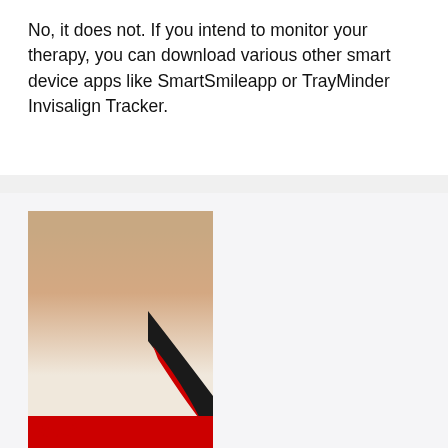No, it does not. If you intend to monitor your therapy, you can download various other smart device apps like SmartSmileapp or TrayMinder Invisalign Tracker.
[Figure (photo): Photo of a young woman with brown hair putting in an Invisalign aligner tray, wearing a white turtleneck sweater. The image has a light blue-grey background with faint dental icons. A black curved swoosh and red branding area appear at the bottom with partial red logo text (appears to be 'Invisalign' or similar brand).]